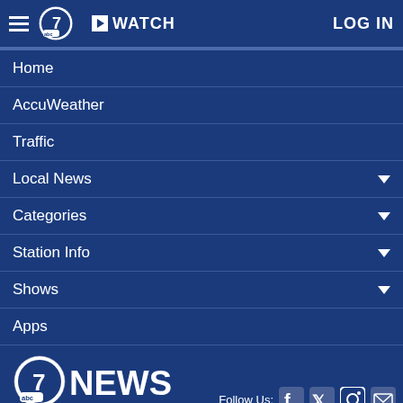[Figure (logo): ABC7 News navigation header with hamburger menu, ABC7 logo circle, WATCH button, and LOG IN link]
Home
AccuWeather
Traffic
Local News
Categories
Station Info
Shows
Apps
[Figure (logo): ABC7 News logo with abc circle and 7NEWS text]
Follow Us: